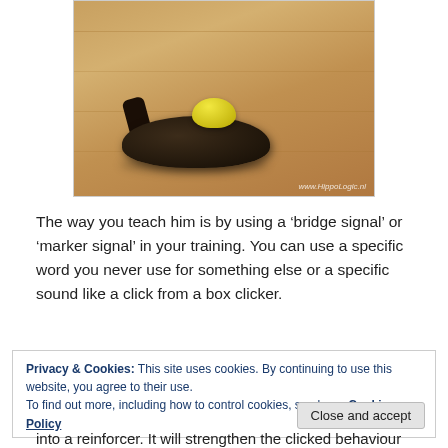[Figure (photo): Photo of a black box clicker with a yellow button on a wooden surface, watermarked www.HippoLogic.nl]
The way you teach him is by using a 'bridge signal' or 'marker signal' in your training. You can use a specific word you never use for something else or a specific sound like a click from a box clicker.
Privacy & Cookies: This site uses cookies. By continuing to use this website, you agree to their use.
To find out more, including how to control cookies, see here: Cookie Policy
into a reinforcer. It will strengthen the clicked behaviour